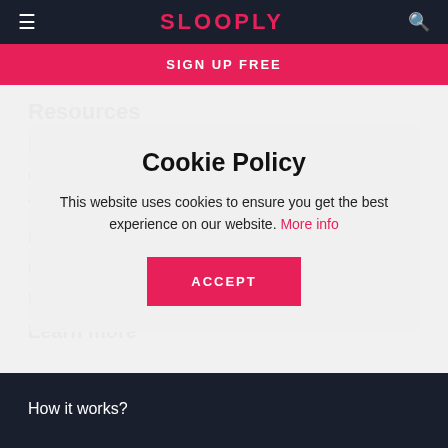SLOOPLY
SIGN UP FREE
Cookie Policy
This website uses cookies to ensure you get the best experience on our website. More info
ACCEPT
How it works?